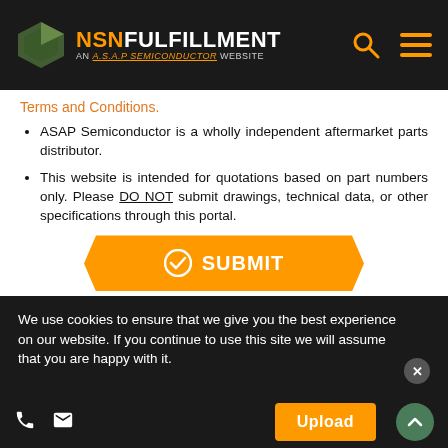NSN FULFILLMENT — AN A.S.A.P SEMICONDUCTOR WEBSITE
Terms and Conditions.
ASAP Semiconductor is a wholly independent aftermarket parts distributor.
This website is intended for quotations based on part numbers only. Please DO NOT submit drawings, technical data, or other specifications through this portal.
[Figure (other): Orange Submit button with checkmark icon]
AS4842 (NSN 4730-00-992-7270, 4730009927270) NSN Information
We use cookies to ensure that we give you the best experience on our website. If you continue to use this site we will assume that you are happy with it.
Phone | Email | Upload | Scroll to top